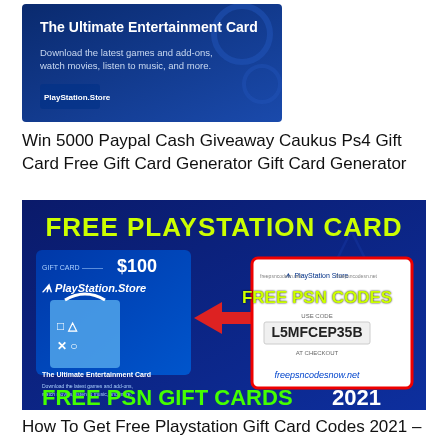[Figure (photo): PlayStation Store gift card promotional image with dark blue background showing text 'The Ultimate Entertainment Card - Download the latest games and add-ons, watch movies, listen to music, and more.']
Win 5000 Paypal Cash Giveaway Caukus Ps4 Gift Card Free Gift Card Generator Gift Card Generator
[Figure (photo): Promotional banner with dark blue background. Large yellow text 'FREE PLAYSTATION CARD' at top. On left: PlayStation Store $100 gift card image with shopping bag showing PlayStation symbols and text 'The Ultimate Entertainment Card'. Red arrow pointing right to a code panel showing 'FREE PSN CODES', 'USE CODE: L5MFCEP35B', 'AT CHECKOUT', 'freepsncodesnow.net'. At bottom: green text 'FREE PSN GIFT CARDS' and white text '2021'.]
How To Get Free Playstation Gift Card Codes 2021 –